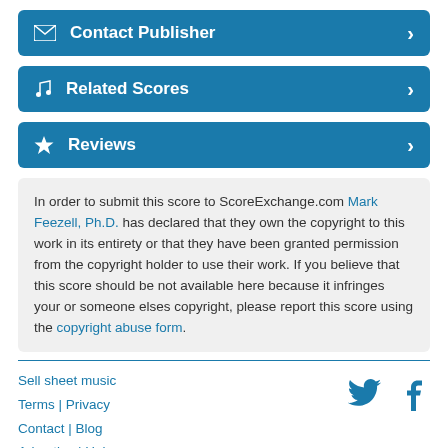Contact Publisher
Related Scores
Reviews
In order to submit this score to ScoreExchange.com Mark Feezell, Ph.D. has declared that they own the copyright to this work in its entirety or that they have been granted permission from the copyright holder to use their work. If you believe that this score should be not available here because it infringes your or someone elses copyright, please report this score using the copyright abuse form.
Sell sheet music | Terms | Privacy | Contact | Blog | Advertise | Help